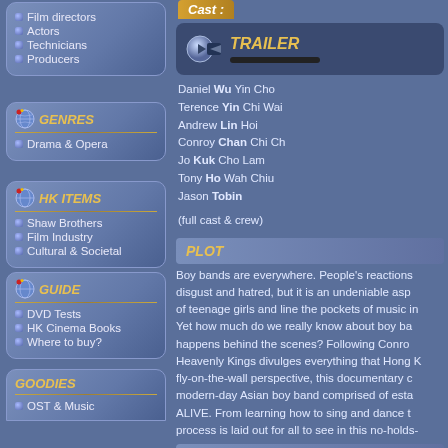Film directors
Actors
Technicians
Producers
TRAILER
Cast: Daniel Wu Yin Cho, Terence Yin Chi Wai, Andrew Lin Hoi, Conroy Chan Chi Ch., Jo Kuk Cho Lam, Tony Ho Wah Chiu, Jason Tobin
(full cast & crew)
GENRES
Drama & Opera
PLOT
Boy bands are everywhere. People's reactions range from disgust and hatred, but it is an undeniable aspect of teenage girls and line the pockets of music in... Yet how much do we really know about boy ba... happens behind the scenes? Following Conro... Heavenly Kings divulges everything that Hong K... fly-on-the-wall perspective, this documentary c... modern-day Asian boy band comprised of esta... ALIVE. From learning how to sing and dance t... process is laid out for all to see in this no-holds-...
HK ITEMS
Shaw Brothers
Film Industry
Cultural & Societal
GUIDE
DVD Tests
HK Cinema Books
Where to buy?
REVIEW
Yes, for those who have seen the movie a... documentary, a surprising and rare film genre w... silly comedies, tearjerkers and frenzied actio... prepared for serious awe and mind games as...
GOODIES
OST & Music